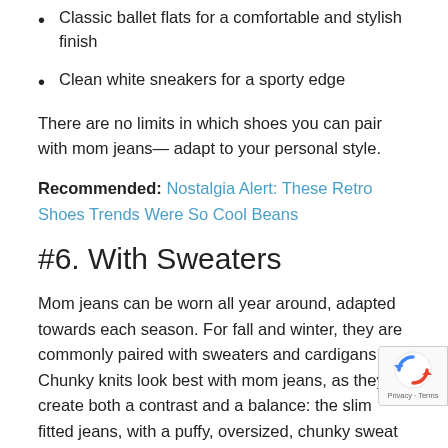Classic ballet flats for a comfortable and stylish finish
Clean white sneakers for a sporty edge
There are no limits in which shoes you can pair with mom jeans— adapt to your personal style.
Recommended: Nostalgia Alert: These Retro Shoes Trends Were So Cool Beans
#6. With Sweaters
Mom jeans can be worn all year around, adapted towards each season. For fall and winter, they are commonly paired with sweaters and cardigans. Chunky knits look best with mom jeans, as they create both a contrast and a balance: the slim fitted jeans, with a puffy, oversized, chunky sweat
Tuck in the front hem, but leave the side and the back